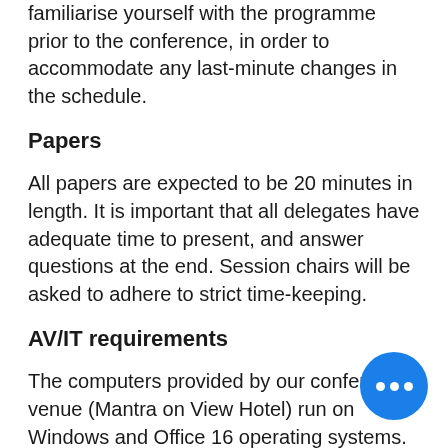familiarise yourself with the programme prior to the conference, in order to accommodate any last-minute changes in the schedule.
Papers
All papers are expected to be 20 minutes in length. It is important that all delegates have adequate time to present, and answer questions at the end. Session chairs will be asked to adhere to strict time-keeping.
AV/IT requirements
The computers provided by our conference venue (Mantra on View Hotel) run on Windows and Office 16 operating systems. Delegates will not be able to plug